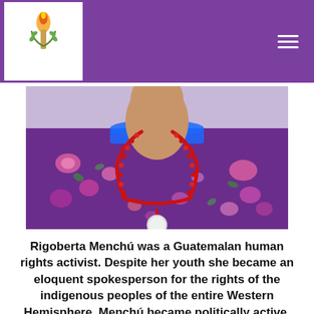[Figure (photo): Close-up photo of a person wearing a colorful purple traditional Guatemalan huipil (woven blouse) with floral embroidery in pink, green, and other colors, with a blue trim at the neckline. A red beaded necklace with a round white medallion pendant is visible. The image is cropped to show the neck and upper chest area.]
Rigoberta Menchú was a Guatemalan human rights activist. Despite her youth she became an eloquent spokesperson for the rights of the indigenous peoples of the entire Western Hemisphere. Menchú became politically active, inspired by her family's involvement. An important influence was her father, Vicente, who was active in the Peasant Unity